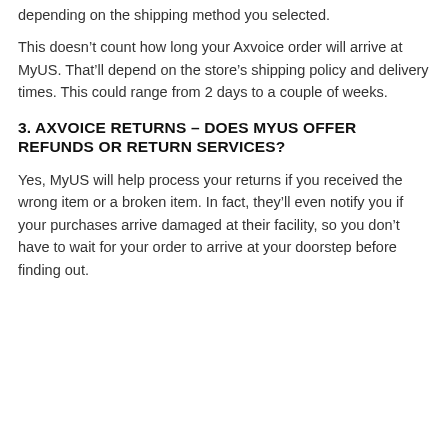depending on the shipping method you selected.
This doesn't count how long your Axvoice order will arrive at MyUS. That'll depend on the store's shipping policy and delivery times. This could range from 2 days to a couple of weeks.
3. AXVOICE RETURNS – DOES MYUS OFFER REFUNDS OR RETURN SERVICES?
Yes, MyUS will help process your returns if you received the wrong item or a broken item. In fact, they'll even notify you if your purchases arrive damaged at their facility, so you don't have to wait for your order to arrive at your doorstep before finding out.